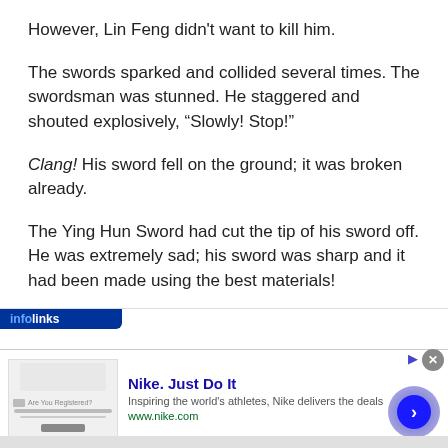However, Lin Feng didn't want to kill him.
The swords sparked and collided several times. The swordsman was stunned. He staggered and shouted explosively, “Slowly! Stop!”
Clang! His sword fell on the ground; it was broken already.
The Ying Hun Sword had cut the tip of his sword off. He was extremely sad; his sword was sharp and it had been made using the best materials!
[Figure (screenshot): Infolinks advertisement overlay with Nike ad banner showing thumbnail, ad title 'Nike. Just Do It', description 'Inspiring the world's athletes, Nike delivers the deals', URL 'www.nike.com', close button, and navigation arrow button]